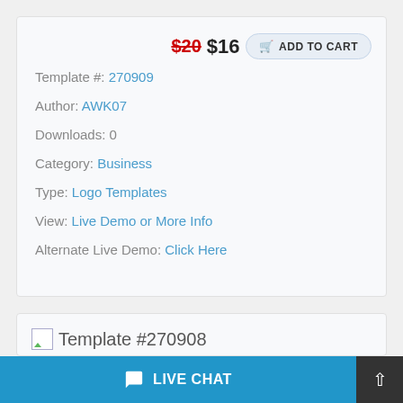$20 $16 ADD TO CART
Template #: 270909
Author: AWK07
Downloads: 0
Category: Business
Type: Logo Templates
View: Live Demo or More Info
Alternate Live Demo: Click Here
Template #270908
LIVE CHAT